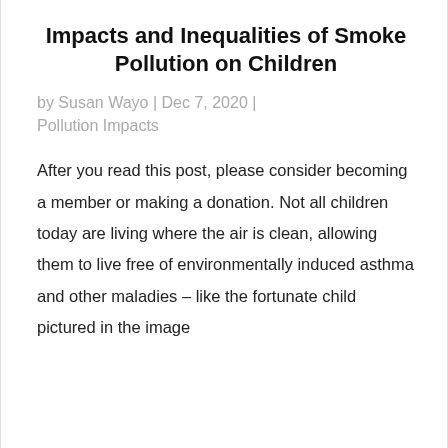Impacts and Inequalities of Smoke Pollution on Children
by Susan Wayo | Dec 7, 2020 | Pollution Impacts
After you read this post, please consider becoming a member or making a donation. Not all children today are living where the air is clean, allowing them to live free of environmentally induced asthma and other maladies – like the fortunate child pictured in the image